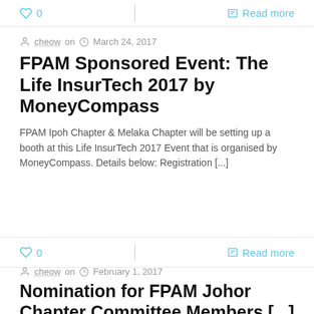0   |   Read more
cheow on   March 24, 2017
FPAM Sponsored Event: The Life InsurTech 2017 by MoneyCompass
FPAM Ipoh Chapter & Melaka Chapter will be setting up a booth at this Life InsurTech 2017 Event that is organised by MoneyCompass. Details below: Registration [...]
0   |   Read more
cheow on   February 1, 2017
Nomination for FPAM Johor Chapter Committee Members [...]